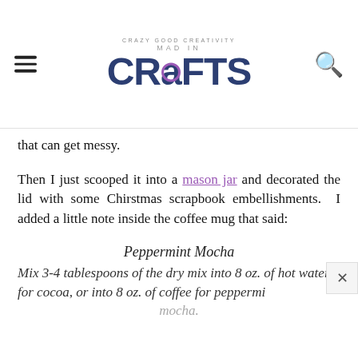Mad In Crafts — Crazy Good Creativity
that can get messy.
Then I just scooped it into a mason jar and decorated the lid with some Chirstmas scrapbook embellishments. I added a little note inside the coffee mug that said:
Peppermint Mocha
Mix 3-4 tablespoons of the dry mix into 8 oz. of hot water for cocoa, or into 8 oz. of coffee for peppermint mocha.